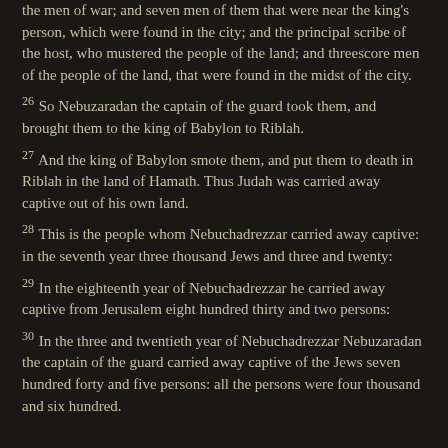He took also out of the city an eunuch, which had the charge of the men of war; and seven men of them that were near the king's person, which were found in the city; and the principal scribe of the host, who mustered the people of the land; and threescore men of the people of the land, that were found in the midst of the city.
26 So Nebuzaradan the captain of the guard took them, and brought them to the king of Babylon to Riblah.
27 And the king of Babylon smote them, and put them to death in Riblah in the land of Hamath. Thus Judah was carried away captive out of his own land.
28 This is the people whom Nebuchadrezzar carried away captive: in the seventh year three thousand Jews and three and twenty:
29 In the eighteenth year of Nebuchadrezzar he carried away captive from Jerusalem eight hundred thirty and two persons:
30 In the three and twentieth year of Nebuchadrezzar Nebuzaradan the captain of the guard carried away captive of the Jews seven hundred forty and five persons: all the persons were four thousand and six hundred.